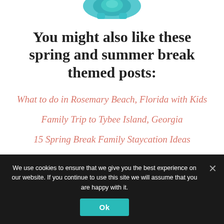[Figure (illustration): Partial illustration of a colorful graphic (turtle or similar figure) at the top of the page — only the bottom portion is visible]
You might also like these spring and summer break themed posts:
What to do in Rosemary Beach, Florida with Kids
Family Trip to Tybee Island, Georgia
15 Spring Break Family Staycation Ideas
We use cookies to ensure that we give you the best experience on our website. If you continue to use this site we will assume that you are happy with it.